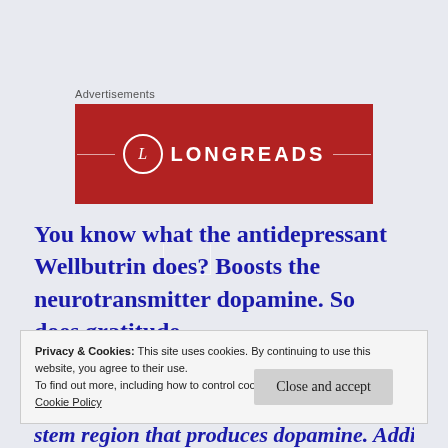Advertisements
[Figure (logo): Longreads advertisement banner with red background, circular L logo, and LONGREADS text in white with decorative bracket lines]
You know what the antidepressant Wellbutrin does? Boosts the neurotransmitter dopamine. So does gratitude.
Privacy & Cookies: This site uses cookies. By continuing to use this website, you agree to their use.
To find out more, including how to control cookies, see here:
Cookie Policy
Close and accept
stem region that produces dopamine. Additionally,